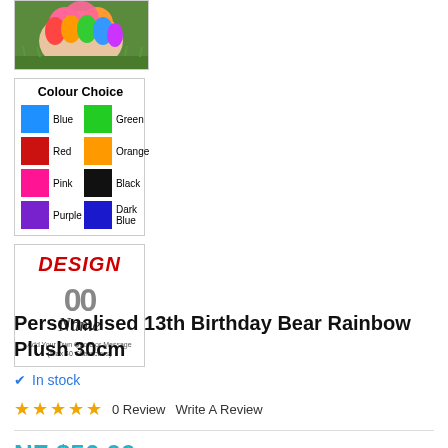[Figure (photo): Thumbnail photo of a rainbow plush bear toy on grass]
[Figure (table-as-image): Colour Choice chart showing swatches: Blue, Green, Red, Orange, Pink, Black, Purple, Dark Blue]
[Figure (illustration): Design preview showing DESIGN text in red, number 00, Name in script, with caption Add Your Own Quote or Message (Max 40 Characters)]
Personalised 13th Birthday Bear Rainbow Plush 30cm
In stock
0 Review   Write A Review
NZ $56.00   Free Shipping